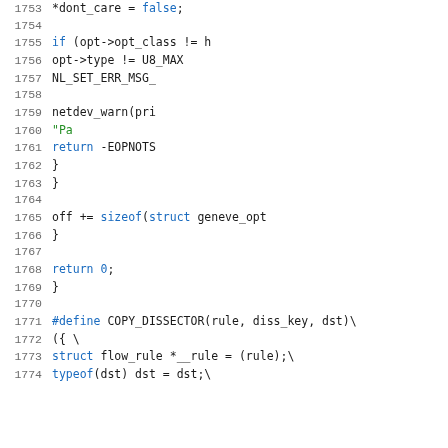[Figure (screenshot): Source code listing in C showing lines 1753-1774, including code for geneve option handling, netdev_warn call, return statements, closing braces, and a #define COPY_DISSECTOR macro definition with struct flow_rule and typeof declarations.]